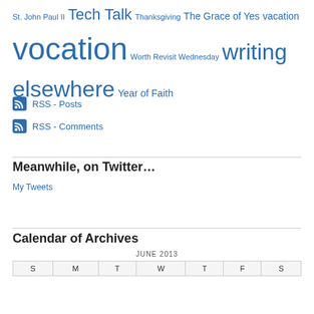St. John Paul II Tech Talk Thanksgiving The Grace of Yes vacation vocation Worth Revisit Wednesday writing elsewhere Year of Faith
RSS - Posts
RSS - Comments
Meanwhile, on Twitter…
My Tweets
Calendar of Archives
| S | M | T | W | T | F | S |
| --- | --- | --- | --- | --- | --- | --- |